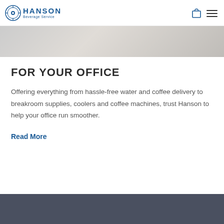Hanson Beverage Service
[Figure (photo): Partial top image strip showing a blurred office/beverage scene]
FOR YOUR OFFICE
Offering everything from hassle-free water and coffee delivery to breakroom supplies, coolers and coffee machines, trust Hanson to help your office run smoother.
Read More